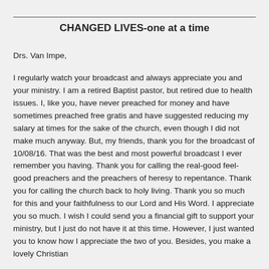CHANGED LIVES-one at a time
Drs. Van Impe,
I regularly watch your broadcast and always appreciate you and your ministry. I am a retired Baptist pastor, but retired due to health issues. I, like you, have never preached for money and have sometimes preached free gratis and have suggested reducing my salary at times for the sake of the church, even though I did not make much anyway. But, my friends, thank you for the broadcast of 10/08/16. That was the best and most powerful broadcast I ever remember you having. Thank you for calling the real-good feel-good preachers and the preachers of heresy to repentance. Thank you for calling the church back to holy living. Thank you so much for this and your faithfulness to our Lord and His Word. I appreciate you so much. I wish I could send you a financial gift to support your ministry, but I just do not have it at this time. However, I just wanted you to know how I appreciate the two of you. Besides, you make a lovely Christian